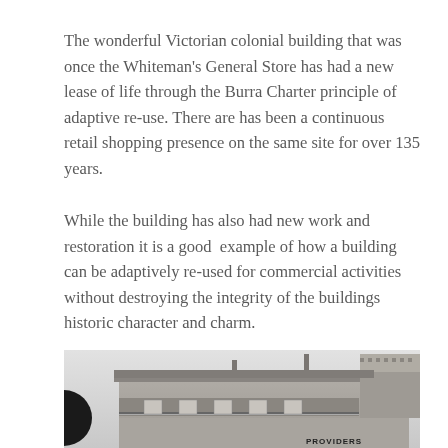The wonderful Victorian colonial building that was once the Whiteman's General Store has had a new lease of life through the Burra Charter principle of adaptive re-use. There are has been a continuous retail shopping presence on the same site for over 135 years.
While the building has also had new work and restoration it is a good  example of how a building can be adaptively re-used for commercial activities without destroying the integrity of the buildings historic character and charm.
[Figure (photo): A black and white historical photograph of a Victorian colonial two-storey building, partially visible. The building has decorative verandah railings, a sloped roof with chimneys, and signage reading 'PROVIDERS' on the right side. A dark circular object is partially visible on the left edge.]